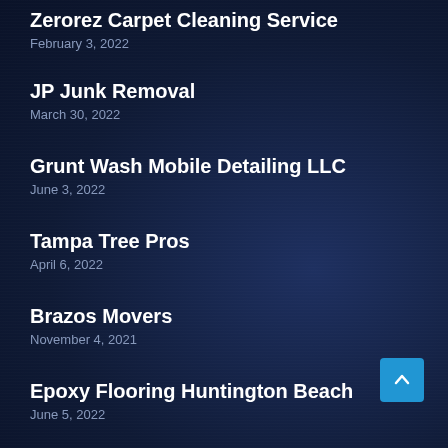Zerorez Carpet Cleaning Service
February 3, 2022
JP Junk Removal
March 30, 2022
Grunt Wash Mobile Detailing LLC
June 3, 2022
Tampa Tree Pros
April 6, 2022
Brazos Movers
November 4, 2021
Epoxy Flooring Huntington Beach
June 5, 2022